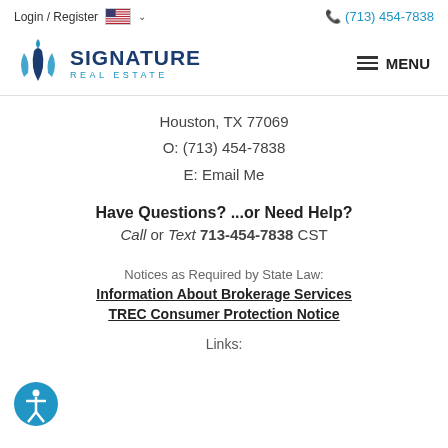Login / Register  🇺🇸 ∨   (713) 454-7838
[Figure (logo): Signature Real Estate logo with blue diamond leaf icon and bold text SIGNATURE REAL ESTATE]
Houston, TX 77069
O: (713) 454-7838
E: Email Me
Have Questions? ...or Need Help?
Call or Text 713-454-7838 CST
Notices as Required by State Law:
Information About Brokerage Services
TREC Consumer Protection Notice
Links:
Real Estate search